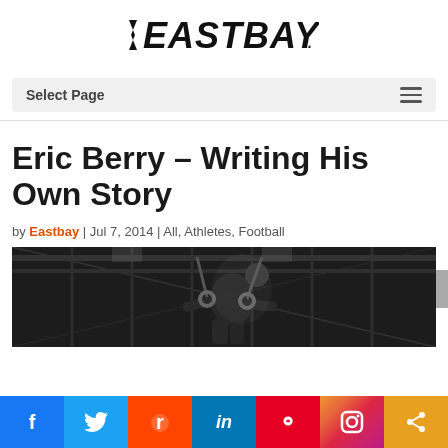EASTBAY
Select Page
Eric Berry – Writing His Own Story
by Eastbay | Jul 7, 2014 | All, Athletes, Football
[Figure (photo): Black and white photo of Eric Berry working out on gymnastic rings in a gym setting, wearing a black t-shirt]
Social share bar: Facebook, Twitter, Reddit, LinkedIn, Pinterest, Instagram, Share